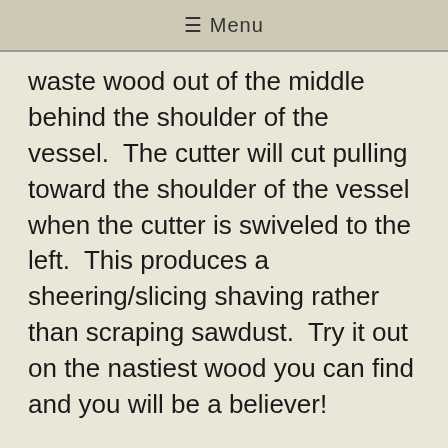☰ Menu
waste wood out of the middle behind the shoulder of the vessel.  The cutter will cut pulling toward the shoulder of the vessel when the cutter is swiveled to the left.  This produces a sheering/slicing shaving rather than scraping sawdust.  Try it out on the nastiest wood you can find and you will be a believer!
Jamieson/Hunter Carbide Cutter Assem… actual size of cutter shaft is 1 ¼ inches – size of carbide cutter is 3/16 inch or Hunter #1